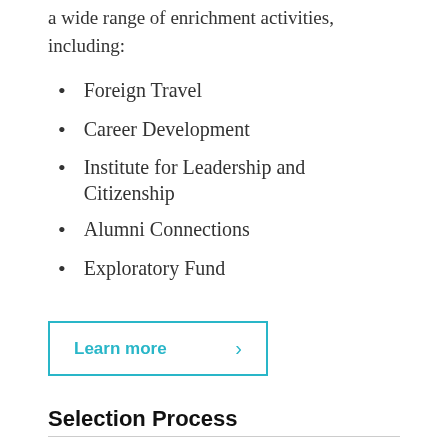a wide range of enrichment activities, including:
Foreign Travel
Career Development
Institute for Leadership and Citizenship
Alumni Connections
Exploratory Fund
Learn more
Selection Process
Jefferson and Walentas Scholarships are awarded to individuals who have undergone a